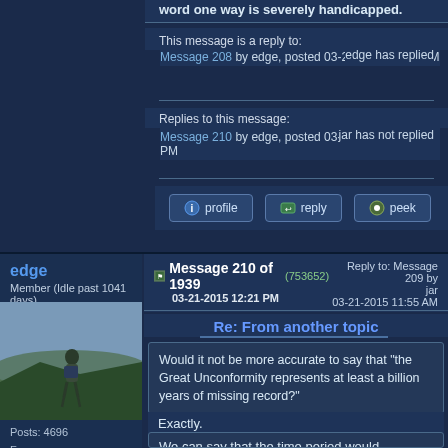word one way is severely handicapped.
This message is a reply to:
Message 208 by edge, posted 03-21-2015 11:34 AM
edge has replied
Replies to this message:
Message 210 by edge, posted 03-21-2015 12:21 PM
jar has not replied
edge
Member (Idle past 1041 days)
Message 210 of 1939 (753652) 03-21-2015 12:21 PM
Reply to: Message 209 by jar 03-21-2015 11:55 AM
Re: From another topic
Would it not be more accurate to say that "the Great Unconformity represents at least a billion years of missing record?"
Exactly.
We can say that the time period would
Posts: 4696
From:
    Colorado, USA